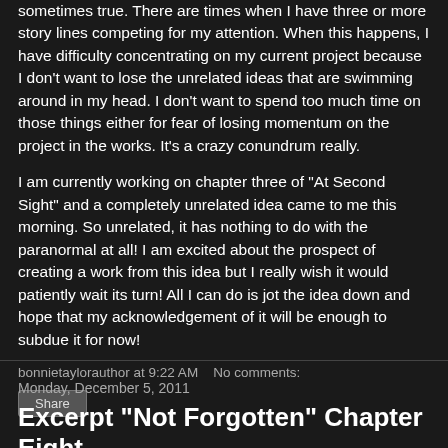sometimes true. There are times when I have three or more story lines competing for my attention. When this happens, I have difficulty concentrating on my current project because I don't want to lose the unrelated ideas that are swimming around in my head. I don't want to spend too much time on those things either for fear of losing momentum on the project in the works. It's a crazy conundrum really.
I am currently working on chapter three of "At Second Sight" and a completely unrelated idea came to me this morning. So unrelated, it has nothing to do with the paranormal at all! I am excited about the prospect of creating a work from this idea but I really wish it would patiently wait its turn! All I can do is jot the idea down and hope that my acknowledgement of it will be enough to subdue it for now!
bonnietaylorauthor at 9:22 AM   No comments:
Share
Monday, December 5, 2011
Excerpt "Not Forgotten" Chapter Eight